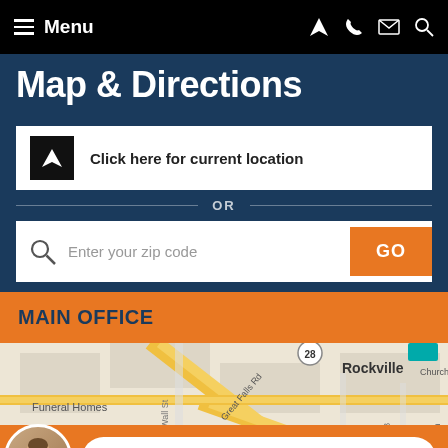Menu
Map & Directions
Click here for current location
OR
Enter your zip code
GO
MAIN OFFICE
[Figure (map): Street map showing Rockville area with Great Falls Rd, E Jefferson St, Wall St, Evans, S Van B, S Adam streets visible. Funeral Homes label on left. St. Mary's Catholic Church on right.]
LIVE CHAT > START NOW